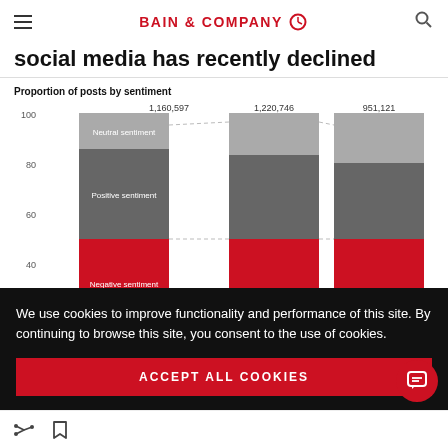BAIN & COMPANY
social media has recently declined
[Figure (stacked-bar-chart): Proportion of posts by sentiment]
We use cookies to improve functionality and performance of this site. By continuing to browse this site, you consent to the use of cookies.
ACCEPT ALL COOKIES